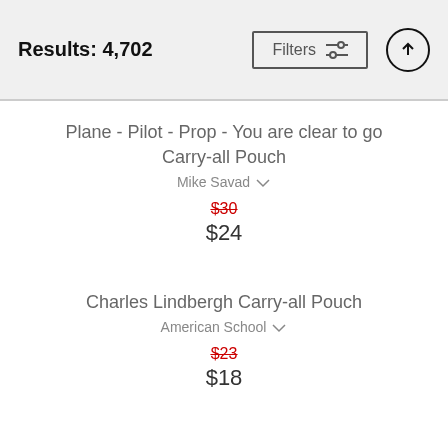Results: 4,702
Plane - Pilot - Prop - You are clear to go Carry-all Pouch
Mike Savad
$30 $24
Charles Lindbergh Carry-all Pouch
American School
$23 $18